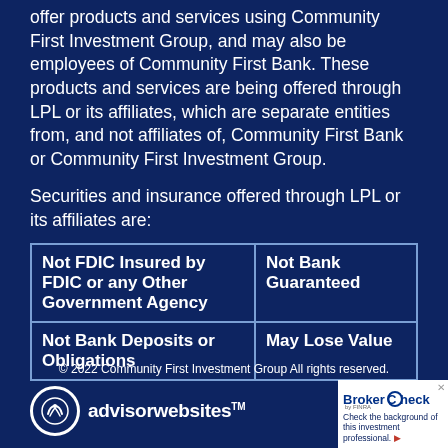offer products and services using Community First Investment Group, and may also be employees of Community First Bank. These products and services are being offered through LPL or its affiliates, which are separate entities from, and not affiliates of, Community First Bank or Community First Investment Group.
Securities and insurance offered through LPL or its affiliates are:
| Not FDIC Insured by FDIC or any Other Government Agency | Not Bank Guaranteed |
| Not Bank Deposits or Obligations | May Lose Value |
© 2022 Community First Investment Group All rights reserved.
[Figure (logo): advisorwebsites logo with circular icon and wordmark]
[Figure (logo): BrokerCheck by FINRA badge with text: Check the background of this investment professional.]